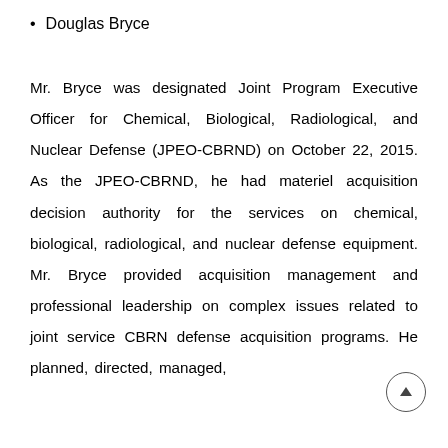Douglas Bryce
Mr. Bryce was designated Joint Program Executive Officer for Chemical, Biological, Radiological, and Nuclear Defense (JPEO-CBRND) on October 22, 2015. As the JPEO-CBRND, he had materiel acquisition decision authority for the services on chemical, biological, radiological, and nuclear defense equipment. Mr. Bryce provided acquisition management and professional leadership on complex issues related to joint service CBRN defense acquisition programs. He planned, directed, managed,